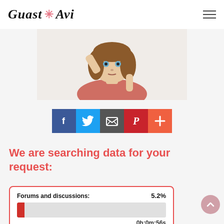Guast Avi
[Figure (photo): Photo of a young girl with curly brown hair looking at the camera, hand raised to forehead]
[Figure (infographic): Row of five social share buttons: Facebook (blue), Twitter (light blue), Email/envelope (dark grey), Pinterest (red), Plus/add (orange-red)]
We are searching data for your request:
Forums and discussions: 5.2%
0h:0m:56s